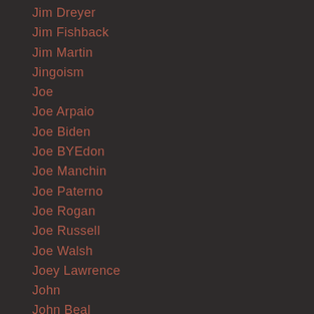Jim Dreyer
Jim Fishback
Jim Martin
Jingoism
Joe
Joe Arpaio
Joe Biden
Joe BYEdon
Joe Manchin
Joe Paterno
Joe Rogan
Joe Russell
Joe Walsh
Joey Lawrence
John
John Beal
John Bland
John Gotti
John Johnson
John Lee Dumas